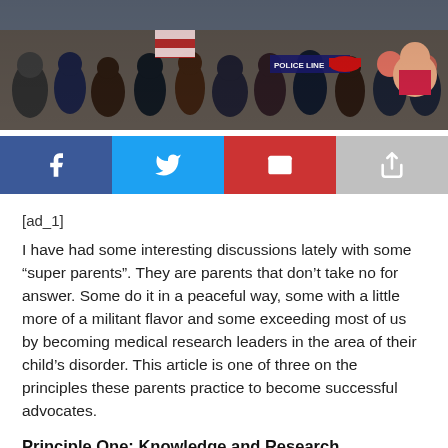[Figure (photo): Crowd of people at a rally, some holding flags and signs, with a police line barrier visible in the background.]
[Figure (infographic): Social media share buttons: Facebook (dark blue), Twitter (light blue), Email (red), Share (gray)]
[ad_1]
I have had some interesting discussions lately with some “super parents”. They are parents that don’t take no for answer. Some do it in a peaceful way, some with a little more of a militant flavor and some exceeding most of us by becoming medical research leaders in the area of their child’s disorder. This article is one of three on the principles these parents practice to become successful advocates.
Principle One: Knowledge and Research
The way successful parents advocate is no different as